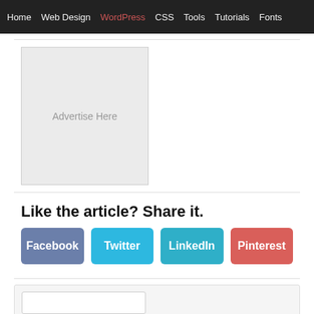Home | Web Design | WordPress | CSS | Tools | Tutorials | Fonts
[Figure (other): Advertisement placeholder box labeled 'Advertise Here']
Like the article? Share it.
Facebook
Twitter
LinkedIn
Pinterest